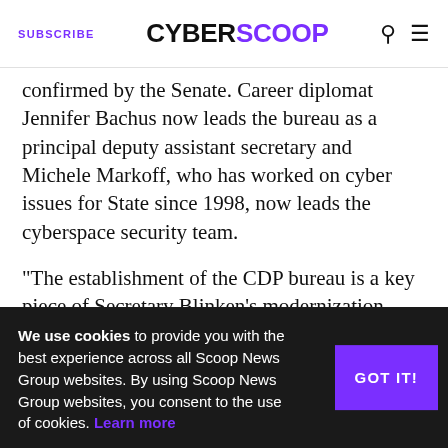SUBSCRIBE | CYBERSCOOP
confirmed by the Senate. Career diplomat Jennifer Bachus now leads the bureau as a principal deputy assistant secretary and Michele Markoff, who has worked on cyber issues for State since 1998, now leads the cyberspace security team.
“The establishment of the CDP bureau is a key piece of Secretary Blinken’s modernization agenda and his plans to build a State Department ready to meet the challenges and opportunities of the 21st century,” the spokesperson said in a statement. “The Secretary is committed to creating durable structures within the Department to lead on cyber and tech for the long term.”
We use cookies to provide you with the best experience across all Scoop News Group websites. By using Scoop News Group websites, you consent to the use of cookies. Learn more
"The U.S. virtually created cyber diplomacy and led the